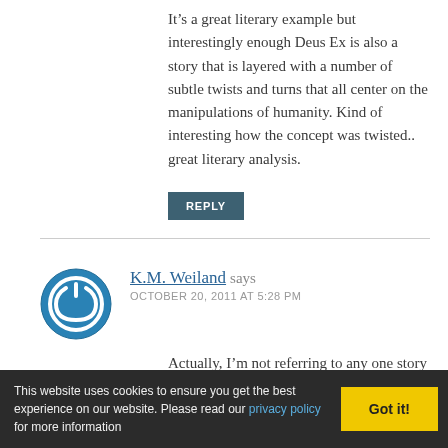It’s a great literary example but interestingly enough Deus Ex is also a story that is layered with a number of subtle twists and turns that all center on the manipulations of humanity. Kind of interesting how the concept was twisted.. great literary analysis.
REPLY
K.M. Weiland says OCTOBER 20, 2011 AT 5:28 PM
Actually, I’m not referring to any one story here – just the deus ex machina technique in general. Glad you enjoyed the post!
This website uses cookies to ensure you get the best experience on our website. Please read our privacy policy for more information